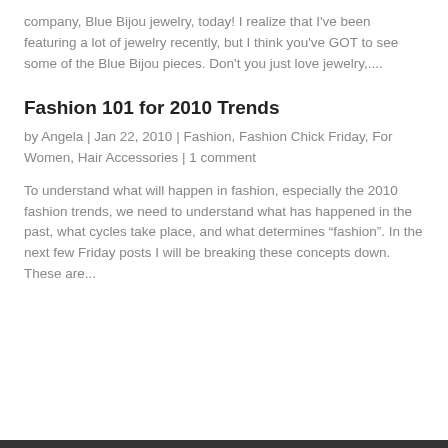company, Blue Bijou jewelry, today!  I realize that I've been featuring a lot of jewelry recently, but I think you've GOT to see some of the Blue Bijou pieces.  Don't you just love jewelry,...
Fashion 101 for 2010 Trends
by Angela | Jan 22, 2010 | Fashion, Fashion Chick Friday, For Women, Hair Accessories | 1 comment
To understand what will happen in fashion, especially the 2010 fashion trends, we need to understand what has happened in the past, what cycles take place, and what determines “fashion”. In the next few Friday posts I will be breaking these concepts down. These are...